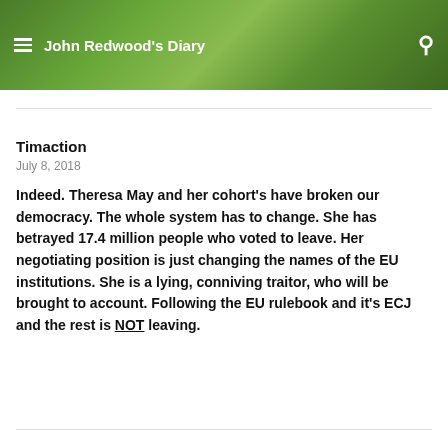John Redwood's Diary
Timaction
July 8, 2018
Indeed. Theresa May and her cohort's have broken our democracy. The whole system has to change. She has betrayed 17.4 million people who voted to leave. Her negotiating position is just changing the names of the EU institutions. She is a lying, conniving traitor, who will be brought to account. Following the EU rulebook and it's ECJ and the rest is NOT leaving.